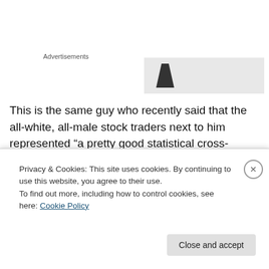Advertisements
[Figure (photo): Partial advertisement image with dark triangular shape visible]
This is the same guy who recently said that the all-white, all-male stock traders next to him represented “a pretty good statistical cross-section of America. The silent majority.” This from a former derivatives trader — a patriotic profession up there with the likes of soldiers, teachers and farmers. Like what America needs now is
Privacy & Cookies: This site uses cookies. By continuing to use this website, you agree to their use.
To find out more, including how to control cookies, see here: Cookie Policy